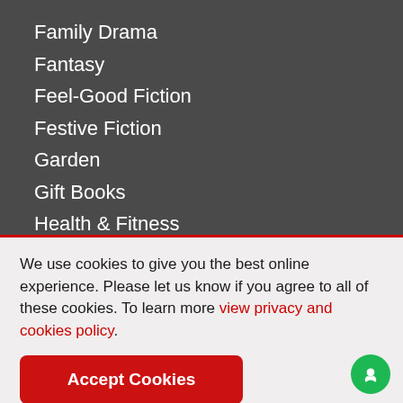Family Drama
Fantasy
Feel-Good Fiction
Festive Fiction
Garden
Gift Books
Health & Fitness
Historical Fiction
History
We use cookies to give you the best online experience. Please let us know if you agree to all of these cookies. To learn more view privacy and cookies policy.